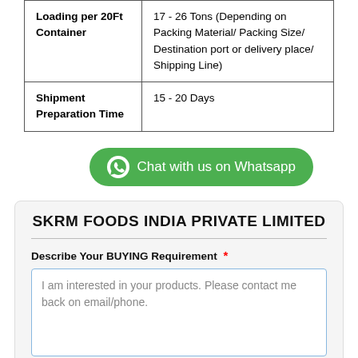|  |  |
| --- | --- |
| Loading per 20Ft Container | 17 - 26 Tons (Depending on Packing Material/ Packing Size/ Destination port or delivery place/ Shipping Line) |
| Shipment Preparation Time | 15 - 20 Days |
[Figure (other): Green WhatsApp chat button with WhatsApp logo icon and text 'Chat with us on Whatsapp']
SKRM FOODS INDIA PRIVATE LIMITED
Describe Your BUYING Requirement *
I am interested in your products. Please contact me back on email/phone.